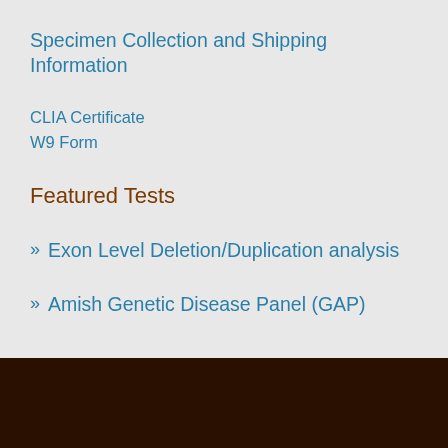Specimen Collection and Shipping Information
CLIA Certificate
W9 Form
Featured Tests
» Exon Level Deletion/Duplication analysis
» Amish Genetic Disease Panel (GAP)